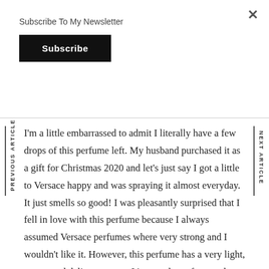×
Subscribe To My Newsletter
Subscribe
PREVIOUS ARTICLE
NEXT ARTICLE
I'm a little embarrassed to admit I literally have a few drops of this perfume left. My husband purchased it as a gift for Christmas 2020 and let's just say I got a little to Versace happy and was spraying it almost everyday. It just smells so good! I was pleasantly surprised that I fell in love with this perfume because I always assumed Versace perfumes where very strong and I wouldn't like it. However, this perfume has a very light, sweet, and delicate aroma. It's a staple perfume to have in your collection. It's more on the sweeter side but not to